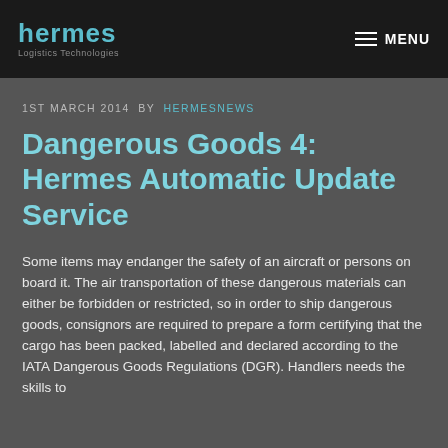hermes Logistics Technologies | MENU
1ST MARCH 2014  BY  HERMESNEWS
Dangerous Goods 4: Hermes Automatic Update Service
Some items may endanger the safety of an aircraft or persons on board it. The air transportation of these dangerous materials can either be forbidden or restricted, so in order to ship dangerous goods, consignors are required to prepare a form certifying that the cargo has been packed, labelled and declared according to the IATA Dangerous Goods Regulations (DGR). Handlers needs the skills to